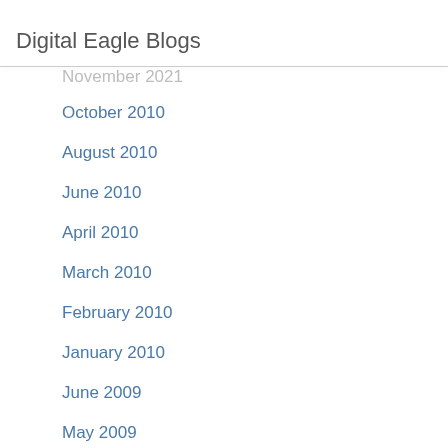Digital Eagle Blogs
November 2021
October 2010
August 2010
June 2010
April 2010
March 2010
February 2010
January 2010
June 2009
May 2009
April 2009